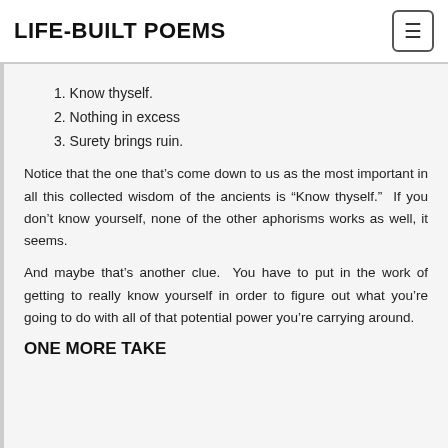LIFE-BUILT POEMS
1. Know thyself.
2. Nothing in excess
3. Surety brings ruin.
Notice that the one that’s come down to us as the most important in all this collected wisdom of the ancients is “Know thyself.”  If you don’t know yourself, none of the other aphorisms works as well, it seems.
And maybe that’s another clue.  You have to put in the work of getting to really know yourself in order to figure out what you’re going to do with all of that potential power you’re carrying around.
ONE MORE TAKE